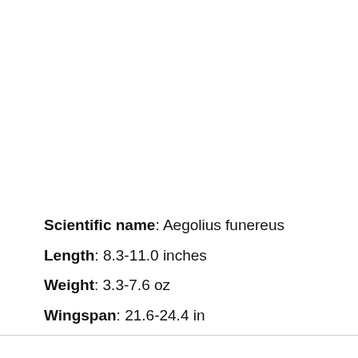Scientific name: Aegolius funereus
Length:  8.3-11.0 inches
Weight: 3.3-7.6 oz
Wingspan: 21.6-24.4 in